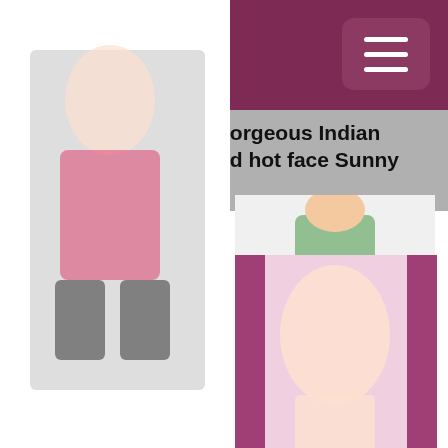In the shower with gorgeous Indian MILF with big tits and hot face Sunny Leone
[Figure (illustration): Cartoon/anime style illustration of two figures, one seated]
[Figure (illustration): Small watermark or logo element]
[Figure (illustration): Anime style illustration with pink and purple curtain background]
[Figure (illustration): Anime style illustration with dark background, partial view]